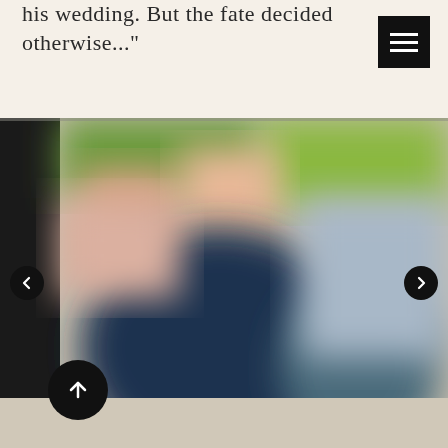his wedding. But the fate decided otherwise..."
[Figure (screenshot): Black square menu/hamburger button with three white horizontal lines, top-right corner]
[Figure (photo): Blurred photo of people at what appears to be a group gathering or event, with green background and dark navy blue clothing visible in foreground. Has left and right navigation arrows and an up-arrow scroll button overlaid.]